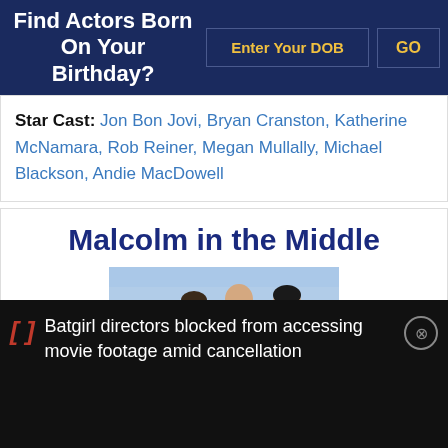Find Actors Born On Your Birthday?
Star Cast: Jon Bon Jovi, Bryan Cranston, Katherine McNamara, Rob Reiner, Megan Mullally, Michael Blackson, Andie MacDowell
Malcolm in the Middle
[Figure (photo): Cast photo from Malcolm in the Middle TV show showing multiple cast members]
Batgirl directors blocked from accessing movie footage amid cancellation